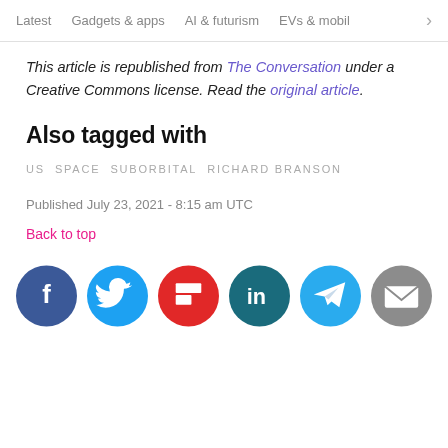Latest   Gadgets & apps   AI & futurism   EVs & mobili >
This article is republished from The Conversation under a Creative Commons license. Read the original article.
Also tagged with
US  SPACE  SUBORBITAL  RICHARD BRANSON
Published July 23, 2021 - 8:15 am UTC
Back to top
[Figure (infographic): Social sharing icons: Facebook (blue circle), Twitter (blue circle), Flipboard (red circle), LinkedIn (dark teal circle), Telegram (teal circle), Email (gray circle)]